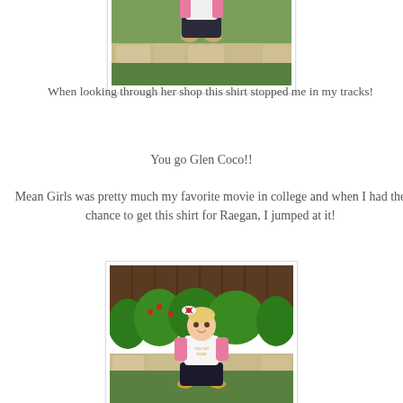[Figure (photo): A baby/toddler sitting on grass in front of stone edging, wearing a pink jacket and white shirt with dark pants and gold shoes.]
When looking through her shop this shirt stopped me in my tracks!
You go Glen Coco!!
Mean Girls was pretty much my favorite movie in college and when I had the chance to get this shirt for Raegan, I jumped at it!
[Figure (photo): A baby/toddler sitting on grass in front of green plants and stone edging, wearing a pink raglan shirt and dark pants, with a zebra-print bow in her hair, smiling at the camera.]